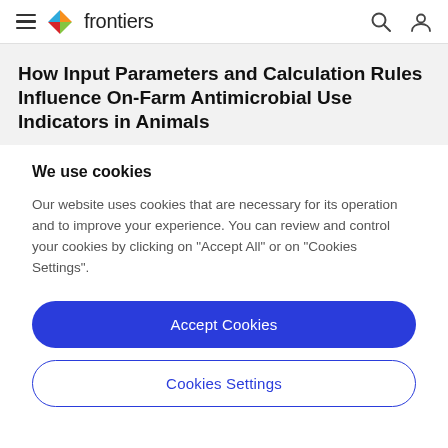frontiers
How Input Parameters and Calculation Rules Influence On-Farm Antimicrobial Use Indicators in Animals
We use cookies
Our website uses cookies that are necessary for its operation and to improve your experience. You can review and control your cookies by clicking on "Accept All" or on "Cookies Settings".
Accept Cookies
Cookies Settings